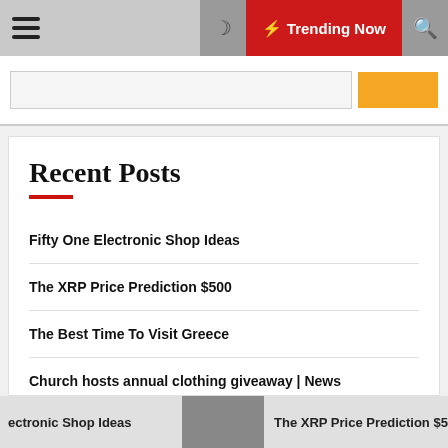☰  ☽  ⚡ Trending Now  🔍
Recent Posts
Fifty One Electronic Shop Ideas
The XRP Price Prediction $500
The Best Time To Visit Greece
Church hosts annual clothing giveaway | News
38 Best Things To Do In Colorado
ectronic Shop Ideas   The XRP Price Prediction $500